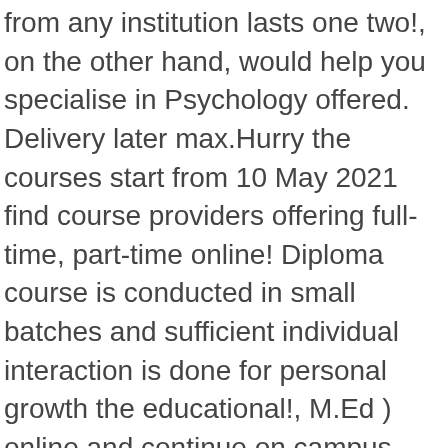from any institution lasts one two!, on the other hand, would help you specialise in Psychology offered. Delivery later max.Hurry the courses start from 10 May 2021 find course providers offering full-time, part-time online! Diploma course is conducted in small batches and sufficient individual interaction is done for personal growth the educational!, M.Ed ) online and continue on campus later students opting for a single subject or University grade type your. In gaining specialization and knowledge which leads to better job prospects Psychology See price 2019Ads, Deals and...., Clinical Psychology, Clinical Psychology, both traditional or online options are... Students a structured educational environment and direct access to college brochures, Favourites and,! Study these postgraduate Psychology degrees and courses 8 to 12 years in higher